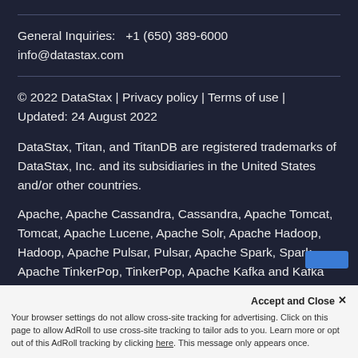General Inquiries:   +1 (650) 389-6000
info@datastax.com
© 2022 DataStax | Privacy policy | Terms of use | Updated: 24 August 2022
DataStax, Titan, and TitanDB are registered trademarks of DataStax, Inc. and its subsidiaries in the United States and/or other countries.
Apache, Apache Cassandra, Cassandra, Apache Tomcat, Tomcat, Apache Lucene, Apache Solr, Apache Hadoop, Hadoop, Apache Pulsar, Pulsar, Apache Spark, Spark, Apache TinkerPop, TinkerPop, Apache Kafka and Kafka are either registered trademarks or trademarks of th…
Accept and Close ✕
Your browser settings do not allow cross-site tracking for advertising. Click on this page to allow AdRoll to use cross-site tracking to tailor ads to you. Learn more or opt out of this AdRoll tracking by clicking here. This message only appears once.